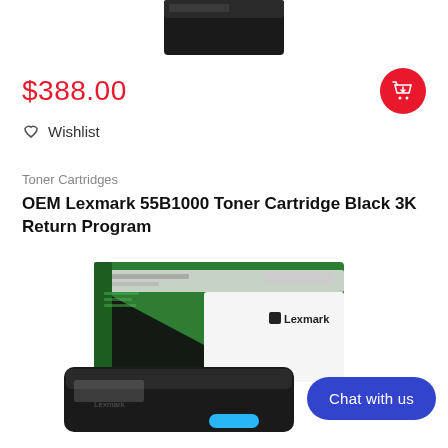[Figure (photo): Partial view of a black toner cartridge box top, cropped at the top of the page]
$388.00
[Figure (other): Red circular add-to-cart button with a shopping cart and download icon]
Wishlist
Toner Cartridges
OEM Lexmark 55B1000 Toner Cartridge Black 3K Return Program
[Figure (photo): Photo of Lexmark 55B1000 toner cartridge product shown with green/white/black box and black toner cartridge in front]
Chat with us